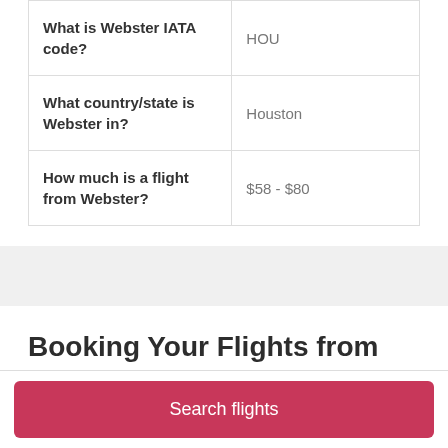| What is Webster IATA code? | HOU |
| What country/state is Webster in? | Houston |
| How much is a flight from Webster? | $58 - $80 |
Booking Your Flights from Webster
Cheap flights from Webster
Search flights